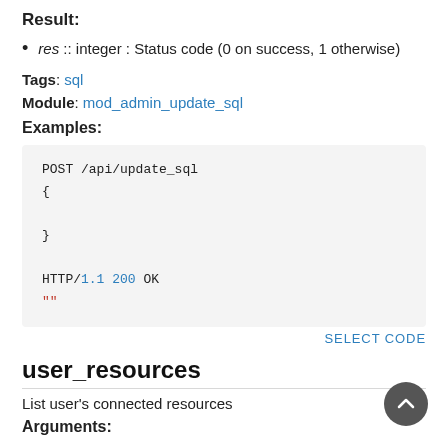Result:
res :: integer : Status code (0 on success, 1 otherwise)
Tags: sql
Module: mod_admin_update_sql
Examples:
[Figure (other): Code block showing POST /api/update_sql request and HTTP/1.1 200 OK response with empty string result]
SELECT CODE
user_resources
List user's connected resources
Arguments: